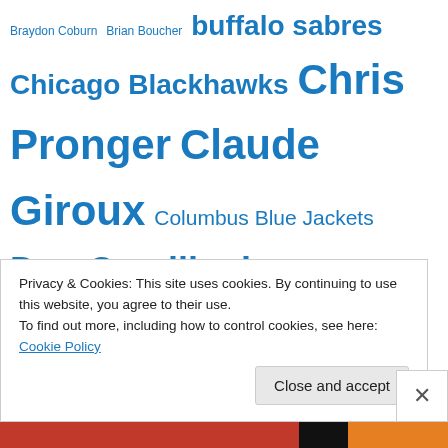Braydon Coburn Brian Boucher buffalo sabres Chicago Blackhawks Chris Pronger Claude Giroux Columbus Blue Jackets Dan Carcillo danny briere Danny Syvret Darroll Powe Edmonton Oilers Evgeni Malkin Florida Panthers Ian Laperriere Ilya Bryzgalov James van Riemsdyk James vanRiemsdyk jeff carter Jody Shelley Joffrey Lupul John Stevens Kevin Marshall Kimmo Timonen Kris Versteeg Los Angeles Kings Luca Sbisa Mario Kempe marty biron Matt Carle Matt Walker Michael Leighton Mika Pyorala mike knuble mike richards Montreal Canadiens New Jersey Devils New York Rangers Nik Zherdev Oskars Bartulis Ottawa Senators
Privacy & Cookies: This site uses cookies. By continuing to use this website, you agree to their use.
To find out more, including how to control cookies, see here: Cookie Policy